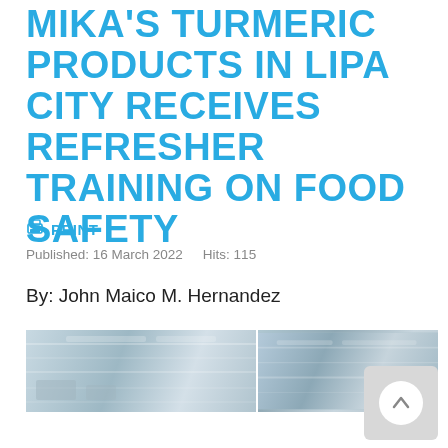MIKA'S TURMERIC PRODUCTS IN LIPA CITY RECEIVES REFRESHER TRAINING ON FOOD SAFETY
🖨 PRINT
Published: 16 March 2022    Hits: 115
By: John Maico M. Hernandez
[Figure (photo): Two photographs side by side showing an indoor setting, likely a training or meeting room, with overhead lighting visible.]
[Figure (screenshot): Scroll-to-top button (circular upward arrow icon on grey rounded rectangle background) in bottom-right corner.]